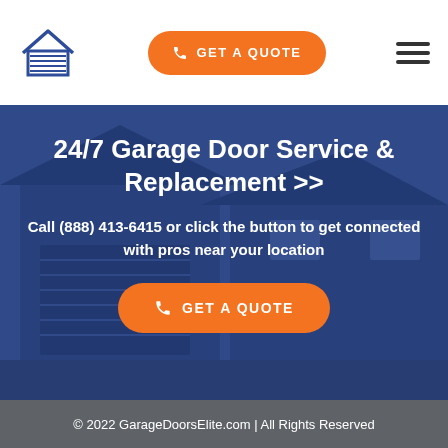GET A QUOTE
24/7 Garage Door Service & Replacement >>
Call (888) 413-6415 or click the button to get connected with pros near your location
GET A QUOTE
© 2022 GarageDoorsElite.com | All Rights Reserved